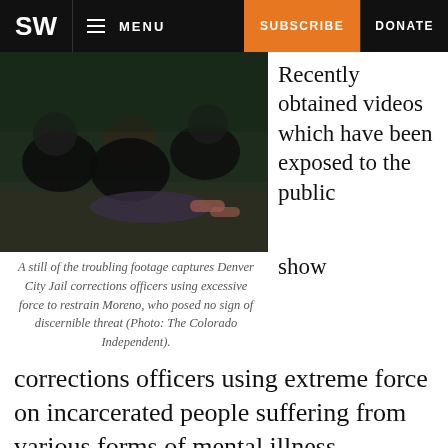SW  MENU  SUBSCRIBE  DONATE
[Figure (photo): A still image from surveillance footage showing Denver City Jail corrections officers restraining a person on the floor.]
Recently obtained videos which have been exposed to the public show
A still of the troubling footage captures Denver City Jail corrections officers using excessive force to restrain Moreno, who posed no sign of discernible threat (Photo: The Colorado Independent).
show corrections officers using extreme force on incarcerated people suffering from various forms of mental illness.